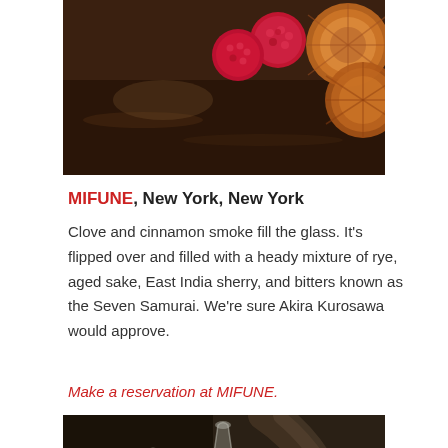[Figure (photo): Dark wood surface with raspberries and dried orange slices in the upper right corner]
MIFUNE, New York, New York
Clove and cinnamon smoke fill the glass. It’s flipped over and filled with a heady mixture of rye, aged sake, East India sherry, and bitters known as the Seven Samurai. We’re sure Akira Kurosawa would approve.
Make a reservation at MIFUNE.
[Figure (photo): Smoke rising from a glass or shaker on a dark surface, dramatic lighting]
[Figure (infographic): Social media icons: Facebook, Twitter, LinkedIn on a light grey background]